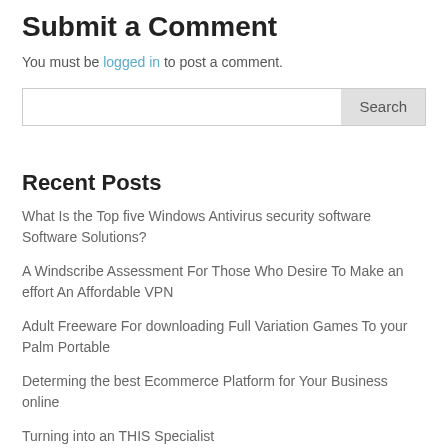Submit a Comment
You must be logged in to post a comment.
Recent Posts
What Is the Top five Windows Antivirus security software Software Solutions?
A Windscribe Assessment For Those Who Desire To Make an effort An Affordable VPN
Adult Freeware For downloading Full Variation Games To your Palm Portable
Determing the best Ecommerce Platform for Your Business online
Turning into an THIS Specialist